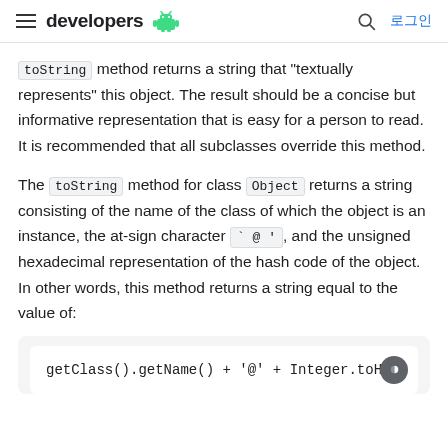developers [android logo] | 로그인
toString method returns a string that "textually represents" this object. The result should be a concise but informative representation that is easy for a person to read. It is recommended that all subclasses override this method.
The toString method for class Object returns a string consisting of the name of the class of which the object is an instance, the at-sign character `@', and the unsigned hexadecimal representation of the hash code of the object. In other words, this method returns a string equal to the value of:
getClass().getName() + '@' + Integer.toHe